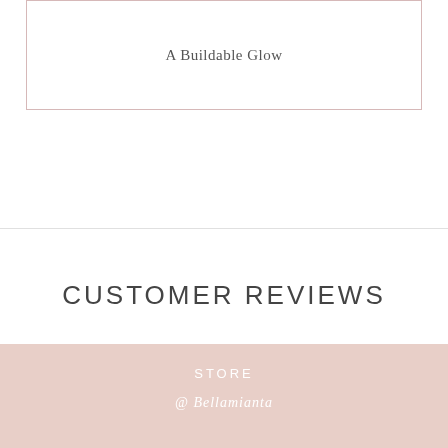A Buildable Glow
CUSTOMER REVIEWS
No reviews yet
Write a review
STORE
@ Bellamianta